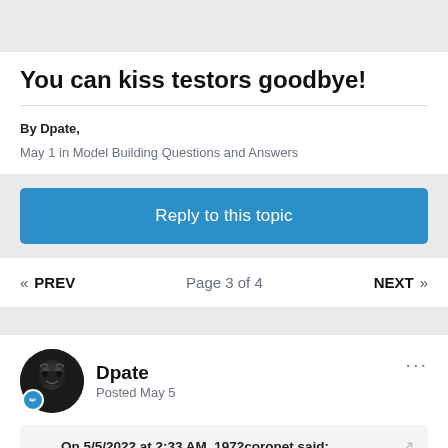You can kiss testors goodbye!
By Dpate,
May 1 in Model Building Questions and Answers
Reply to this topic
« PREV   Page 3 of 4   NEXT »
Dpate
Posted May 5
On 5/5/2022 at 2:33 AM, 1972coronet said: